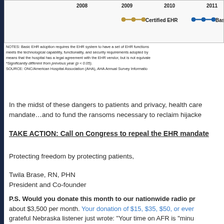[Figure (line-chart): Partial view of a line chart showing EHR adoption over years 2008, 2009, 2010, 2011. Legend shows 'Certified EHR' (gold line) and 'Basi...' (blue line, truncated).]
NOTES: Basic EHR adoption requires the EHR system to have a set of EHR functions meets the technological capability, functionality, and security requirements adopted by means that the hospital has a legal agreement with the EHR vendor, but is not equivale *Significantly different from previous year (p < 0.05). SOURCE: ONC/American Hospital Association (AHA), AHA Annual Survey Informatio
In the midst of these dangers to patients and privacy, health care mandate…and to fund the ransoms necessary to reclaim hijacke
TAKE ACTION: Call on Congress to repeal the EHR mandate
Protecting freedom by protecting patients,
Twila Brase, RN, PHN
President and Co-founder
P.S. Would you donate this month to our nationwide radio pr about $3,500 per month. Your donation of $15, $35, $50, or ever grateful Nebraska listener just wrote: "Your time on AFR is "minu